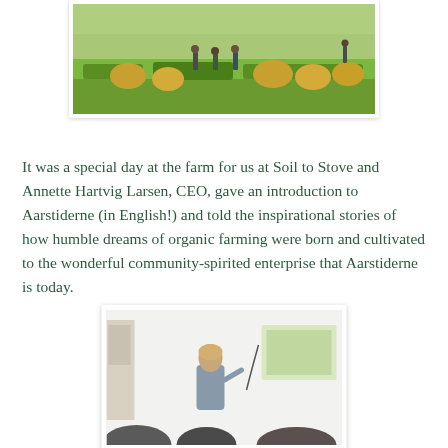[Figure (photo): Outdoor farm scene with people standing among hay bales on a sunny day with green vegetation]
It was a special day at the farm for us at Soil to Stove and Annette Hartvig Larsen, CEO, gave an introduction to Aarstiderne (in English!) and told the inspirational stories of how humble dreams of organic farming were born and cultivated to the wonderful community-spirited enterprise that Aarstiderne is today.
[Figure (photo): Woman presenting in a white tent/marquee room with a projector screen visible, audience in foreground]